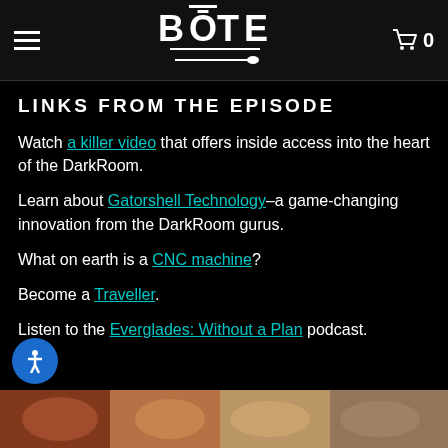BOTE (logo) — Navigation header with hamburger menu and cart icon
LINKS FROM THE EPISODE
Watch a killer video that offers inside access into the heart of the DarkRoom.
Learn about Gatorshell Technology–a game-changing innovation from the DarkRoom gurus.
What on earth is a CNC machine?
Become a Traveller.
Listen to the Everglades: Without a Plan podcast.
[Figure (photo): Partial view of colorful photo strip at bottom of page, showing what appears to be paddleboards or outdoor gear.]